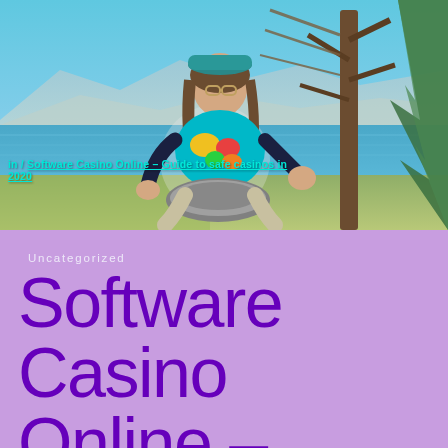[Figure (photo): A woman with long hair wearing a teal cap and colorful patterned top, sitting outdoors near a lake with mountains and blue sky in the background, holding what appears to a hang drum or similar percussion instrument.]
Software Casino Online – Guide to safe casinos in 2020
Uncategorized
Software Casino Online –